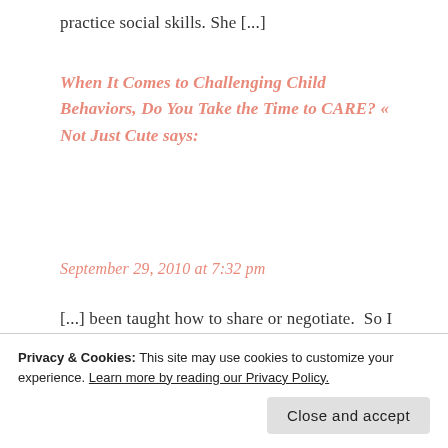practice social skills. She [...]
When It Comes to Challenging Child Behaviors, Do You Take the Time to CARE? « Not Just Cute says:
September 29, 2010 at 7:32 pm
[...] been taught how to share or negotiate.  So I might start off by coaching Tommy through a script for sharing or teach him how to negotiate a [...]
Privacy & Cookies: This site may use cookies to customize your experience. Learn more by reading our Privacy Policy.
Close and accept